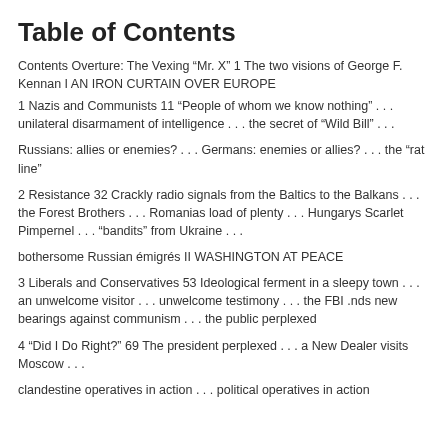Table of Contents
Contents Overture: The Vexing “Mr. X” 1 The two visions of George F. Kennan I AN IRON CURTAIN OVER EUROPE
1 Nazis and Communists 11 “People of whom we know nothing” . . . unilateral disarmament of intelligence . . . the secret of “Wild Bill” . . .
Russians: allies or enemies? . . . Germans: enemies or allies? . . . the “rat line”
2 Resistance 32 Crackly radio signals from the Baltics to the Balkans . . . the Forest Brothers . . . Romanias load of plenty . . . Hungarys Scarlet Pimpernel . . . “bandits” from Ukraine . . .
bothersome Russian émigrés II WASHINGTON AT PEACE
3 Liberals and Conservatives 53 Ideological ferment in a sleepy town . . . an unwelcome visitor . . . unwelcome testimony . . . the FBI .nds new bearings against communism . . . the public perplexed
4 “Did I Do Right?” 69 The president perplexed . . . a New Dealer visits Moscow . . .
clandestine operatives in action . . . political operatives in action